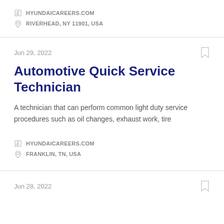HYUNDAICAREERS.COM
RIVERHEAD, NY 11901, USA
Jun 29, 2022
Automotive Quick Service Technician
A technician that can perform common light duty service procedures such as oil changes, exhaust work, tire
HYUNDAICAREERS.COM
FRANKLIN, TN, USA
Jun 28, 2022